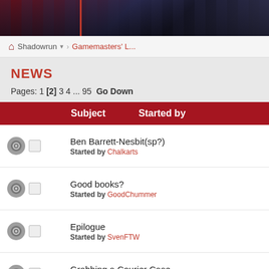[Figure (screenshot): Dark banner header with game-related imagery, red vertical bar on left side]
Shadowrun > Gamemasters' L...
NEWS
Pages: 1 [2] 3 4 ... 95  Go Down
| Subject | Started by |
| --- | --- |
| Ben Barrett-Nesbit(sp?) | Started by Chalkarts |
| Good books? | Started by GoodChummer |
| Epilogue | Started by SvenFTW |
| Grabbing a Courier Case | Started by Bruce |
| Dealing with a story thats tight on time | Started by Fix |
| Mobile Contact Connection Rating? Help needed | Started by Nightmare |